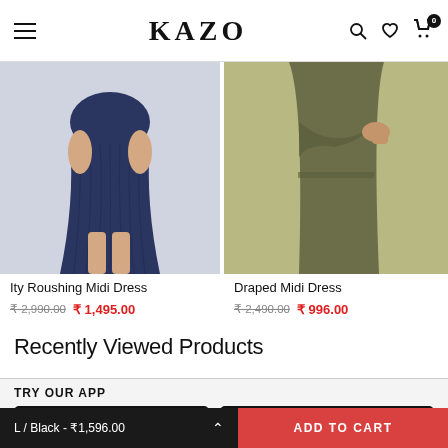KAZO
[Figure (photo): Navy blue ruched midi dress product photo – left half]
[Figure (photo): Olive green draped midi dress product photo – right half]
Ity Roushing Midi Dress
₹ 2,990.00  ₹ 1,495.00
Draped Midi Dress
₹ 2,490.00  ₹ 996.00
Recently Viewed Products
TRY OUR APP
[Figure (logo): Google Play store badge – GET IT ON Google Play]
[Figure (logo): Apple App Store badge – Download on the App Store]
L / Black - ₹1,596.00
ADD TO CART